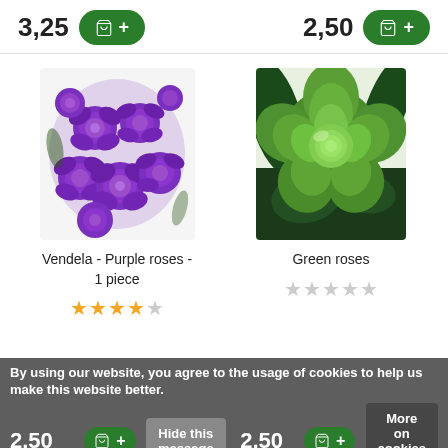3,25
2,50
[Figure (photo): Bunch of purple/violet roses - Vendela Purple roses product photo]
Vendela - Purple roses - 1 piece
★★★★☆ (4 out of 5 stars)
[Figure (photo): Single green rose close-up product photo]
Green roses
☆☆☆☆☆ (0 stars)
By using our website, you agree to the usage of cookies to help us make this website better.
Hide this message
More on cookies »
2,50
2,50